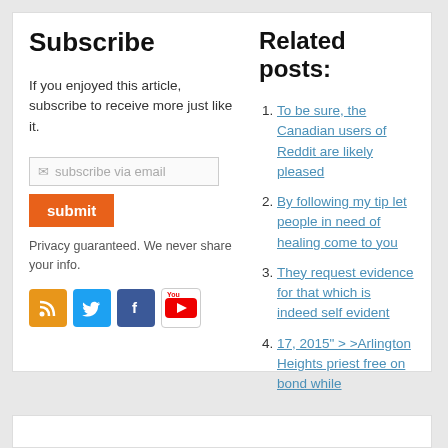Subscribe
If you enjoyed this article, subscribe to receive more just like it.
subscribe via email
submit
Privacy guaranteed. We never share your info.
[Figure (infographic): Social media icons: RSS (orange), Twitter (blue bird), Facebook (blue f), YouTube (red/white play button)]
Related posts:
To be sure, the Canadian users of Reddit are likely pleased
By following my tip let people in need of healing come to you
They request evidence for that which is indeed self evident
17, 2015" > >Arlington Heights priest free on bond while